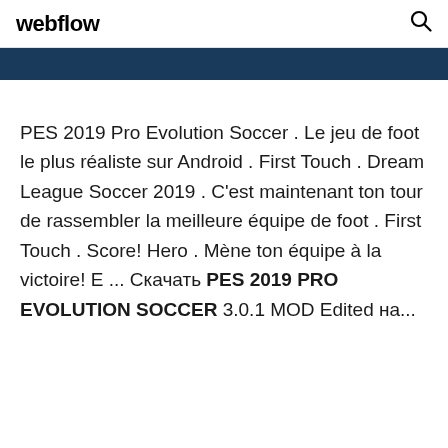webflow
[Figure (other): Dark blue banner bar]
PES 2019 Pro Evolution Soccer . Le jeu de foot le plus réaliste sur Android . First Touch . Dream League Soccer 2019 . C'est maintenant ton tour de rassembler la meilleure équipe de foot . First Touch . Score! Hero . Mène ton équipe à la victoire! E ... Скачать PES 2019 PRO EVOLUTION SOCCER 3.0.1 MOD Edited на...